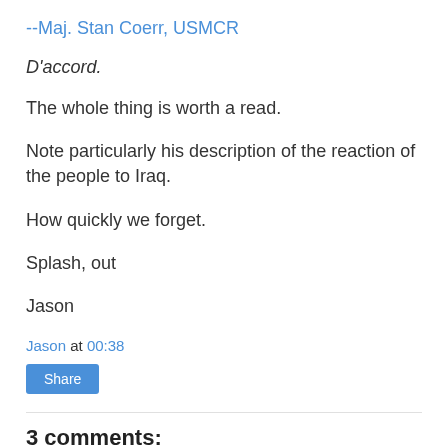--Maj. Stan Coerr, USMCR
D'accord.
The whole thing is worth a read.
Note particularly his description of the reaction of the people to Iraq.
How quickly we forget.
Splash, out
Jason
Jason at 00:38
Share
3 comments: